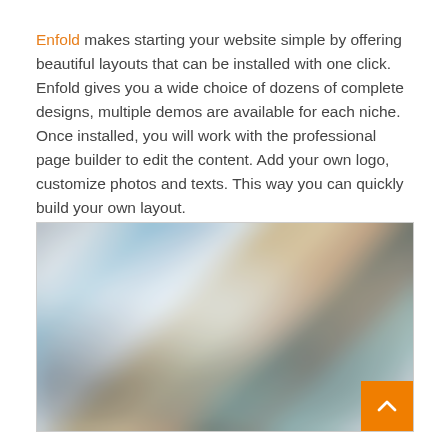Enfold makes starting your website simple by offering beautiful layouts that can be installed with one click. Enfold gives you a wide choice of dozens of complete designs, multiple demos are available for each niche. Once installed, you will work with the professional page builder to edit the content. Add your own logo, customize photos and texts. This way you can quickly build your own layout.
[Figure (photo): A blurred collage of website layout screenshots showing various design templates with light, blue, and warm toned sections. An orange button with an upward arrow chevron is visible in the bottom-right corner.]